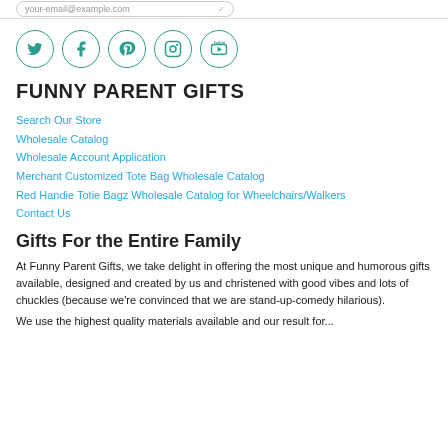your-email@example.com
[Figure (illustration): Social media icon circles for Twitter, Facebook, Pinterest, Instagram, YouTube in teal outline style]
FUNNY PARENT GIFTS
Search Our Store
Wholesale Catalog
Wholesale Account Application
Merchant Customized Tote Bag Wholesale Catalog
Red Handie Totie Bagz Wholesale Catalog for Wheelchairs/Walkers
Contact Us
Gifts For the Entire Family
At Funny Parent Gifts, we take delight in offering the most unique and humorous gifts available, designed and created by us and christened with good vibes and lots of chuckles (because we're convinced that we are stand-up-comedy hilarious).
We use the highest quality materials available and our result for...